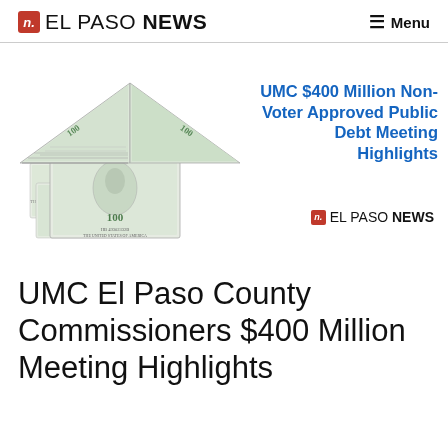n. EL PASO NEWS | Menu
[Figure (illustration): Illustration of a house made of US $100 bills with text overlay reading 'UMC $400 Million Non-Voter Approved Public Debt Meeting Highlights' in bold blue, and El Paso News logo inside the image]
UMC El Paso County Commissioners $400 Million Meeting Highlights